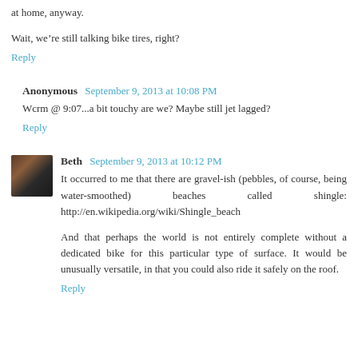at home, anyway.
Wait, we're still talking bike tires, right?
Reply
Anonymous September 9, 2013 at 10:08 PM
Wcrm @ 9:07...a bit touchy are we? Maybe still jet lagged?
Reply
Beth September 9, 2013 at 10:12 PM
It occurred to me that there are gravel-ish (pebbles, of course, being water-smoothed) beaches called shingle: http://en.wikipedia.org/wiki/Shingle_beach
And that perhaps the world is not entirely complete without a dedicated bike for this particular type of surface. It would be unusually versatile, in that you could also ride it safely on the roof.
Reply